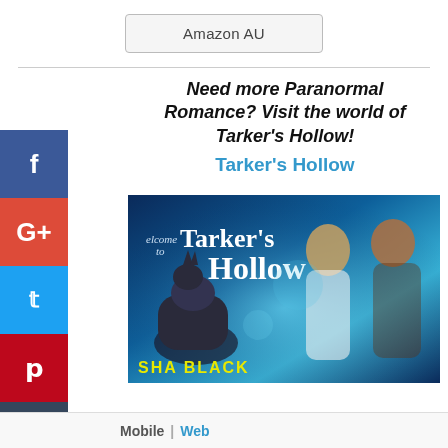Amazon AU
Need more Paranormal Romance? Visit the world of Tarker's Hollow!
Tarker's Hollow
[Figure (illustration): Book series banner for 'Welcome to Tarker's Hollow' by Sha Black, showing a wolf, a woman, and a shirtless man against a blue mystical background]
Mobile | Web